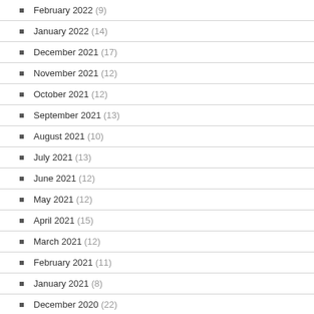February 2022 (9)
January 2022 (14)
December 2021 (17)
November 2021 (12)
October 2021 (12)
September 2021 (13)
August 2021 (10)
July 2021 (13)
June 2021 (12)
May 2021 (12)
April 2021 (15)
March 2021 (12)
February 2021 (11)
January 2021 (8)
December 2020 (22)